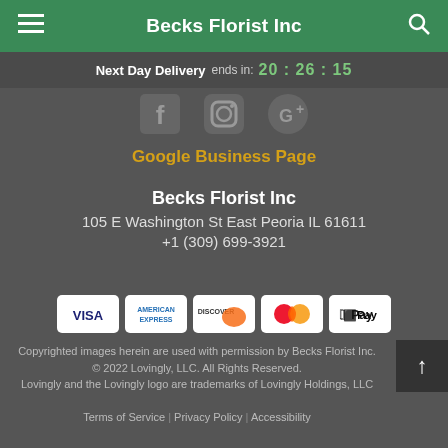Becks Florist Inc
Next Day Delivery ends in: 20:26:15
[Figure (illustration): Social media icons: Facebook, Instagram, Google+]
Google Business Page
Becks Florist Inc
105 E Washington St East Peoria IL 61611
+1 (309) 699-3921
[Figure (illustration): Payment method icons: Visa, American Express, Discover, Mastercard, Apple Pay]
Copyrighted images herein are used with permission by Becks Florist Inc.
© 2022 Lovingly, LLC. All Rights Reserved.
Lovingly and the Lovingly logo are trademarks of Lovingly Holdings, LLC
Terms of Service | Privacy Policy | Accessibility